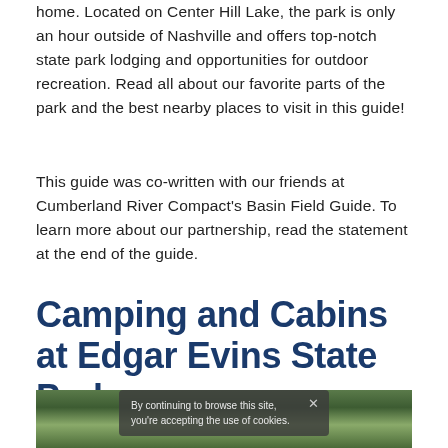home. Located on Center Hill Lake, the park is only an hour outside of Nashville and offers top-notch state park lodging and opportunities for outdoor recreation. Read all about our favorite parts of the park and the best nearby places to visit in this guide!
This guide was co-written with our friends at Cumberland River Compact's Basin Field Guide. To learn more about our partnership, read the statement at the end of the guide.
Camping and Cabins at Edgar Evins State Park
[Figure (photo): Outdoor nature photo of trees and foliage, partially obscured by a cookie consent overlay reading 'By continuing to browse this site, you're accepting the use of cookies.']